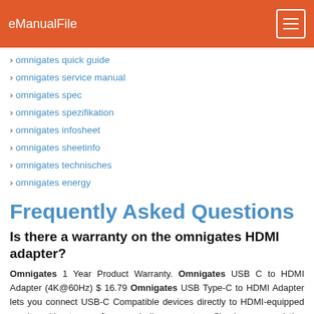eManualFile
omnigates quick guide
omnigates service manual
omnigates spec
omnigates spezifikation
omnigates infosheet
omnigates sheetinfo
omnigates technisches
omnigates energy
Frequently Asked Questions
Is there a warranty on the omnigates HDMI adapter?
Omnigates 1 Year Product Warranty. Omnigates USB C to HDMI Adapter (4K@60Hz) $ 16.79 Omnigates USB Type-C to HDMI Adapter lets you connect USB-C Compatible devices directly to HDMI-equipped monitor without any software or bulky connectors. Simply use an existing HDMI cable to connect your TV or monitor to the adapter to start streaming immediately.